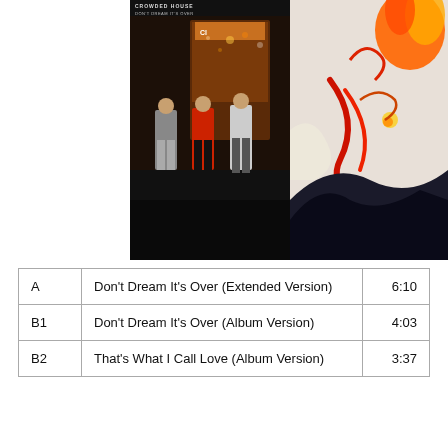[Figure (photo): Album cover for Crowded House 'Don't Dream It's Over (Extended Version)' showing three band members walking on a city street at night on the left panel, and abstract colorful artwork with red, orange, yellow and dark brushstrokes on the right panel.]
|  |  |  |
| --- | --- | --- |
| A | Don't Dream It's Over (Extended Version) | 6:10 |
| B1 | Don't Dream It's Over (Album Version) | 4:03 |
| B2 | That's What I Call Love (Album Version) | 3:37 |